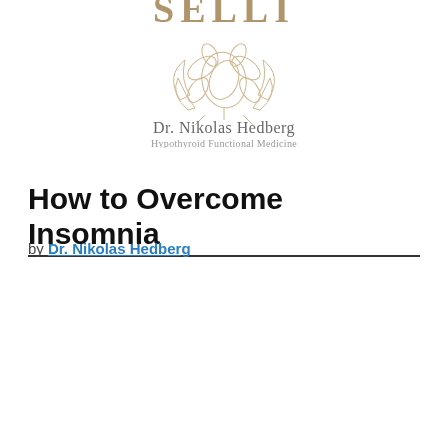[Figure (logo): SELLI floral logo with botanical illustration above text 'Dr. Nikolas Hedberg, Hypothyroid Functional Medicine']
How to Overcome Insomnia
by Dr. Nikolas Hedberg
[Figure (screenshot): Podcast audio player widget for 'Functional Medicine Research with Dr. Nikolas Hedberg'. Shows podcast cover art, play button, progress bar at 0:00, playback speed 1X, rewind/forward 15s buttons, and bottom action bar with Shownotes, Download, Subscribe, Share buttons.]